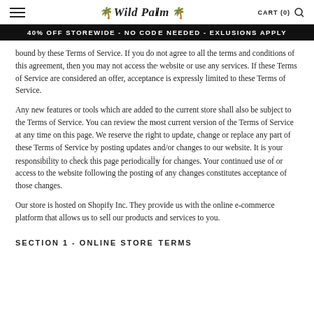Wild Palm — CART (0)
40% OFF STOREWIDE - NO CODE NEEDED - EXLUSIONS APPLY
bound by these Terms of Service. If you do not agree to all the terms and conditions of this agreement, then you may not access the website or use any services. If these Terms of Service are considered an offer, acceptance is expressly limited to these Terms of Service.
Any new features or tools which are added to the current store shall also be subject to the Terms of Service. You can review the most current version of the Terms of Service at any time on this page. We reserve the right to update, change or replace any part of these Terms of Service by posting updates and/or changes to our website. It is your responsibility to check this page periodically for changes. Your continued use of or access to the website following the posting of any changes constitutes acceptance of those changes.
Our store is hosted on Shopify Inc. They provide us with the online e-commerce platform that allows us to sell our products and services to you.
SECTION 1 - ONLINE STORE TERMS